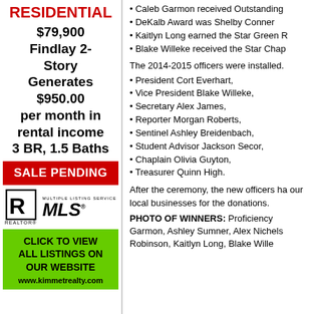RESIDENTIAL
$79,900 Findlay 2-Story Generates $950.00 per month in rental income 3 BR, 1.5 Baths
SALE PENDING
[Figure (logo): REALTOR and MLS logos]
CLICK TO VIEW ALL LISTINGS ON OUR WEBSITE www.kimmetrealty.com
Caleb Garmon received Outstanding
DeKalb Award was Shelby Conner
Kaitlyn Long earned the Star Green R
Blake Willeke received the Star Chap
The 2014-2015 officers were installed.
President Cort Everhart,
Vice President Blake Willeke,
Secretary Alex James,
Reporter Morgan Roberts,
Sentinel Ashley Breidenbach,
Student Advisor Jackson Secor,
Chaplain Olivia Guyton,
Treasurer Quinn High.
After the ceremony, the new officers ha our local businesses for the donations.
PHOTO OF WINNERS: Proficiency Garmon, Ashley Sumner, Alex Nichels Robinson, Kaitlyn Long, Blake Wille